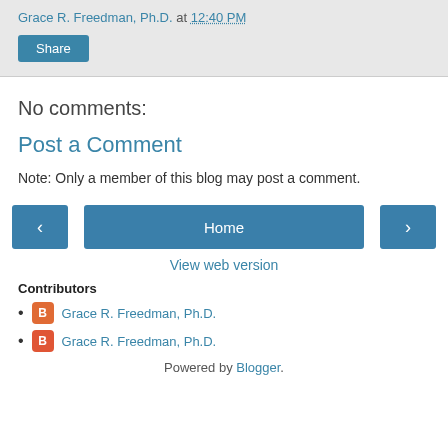Grace R. Freedman, Ph.D. at 12:40 PM
Share
No comments:
Post a Comment
Note: Only a member of this blog may post a comment.
‹  Home  ›
View web version
Contributors
Grace R. Freedman, Ph.D.
Grace R. Freedman, Ph.D.
Powered by Blogger.